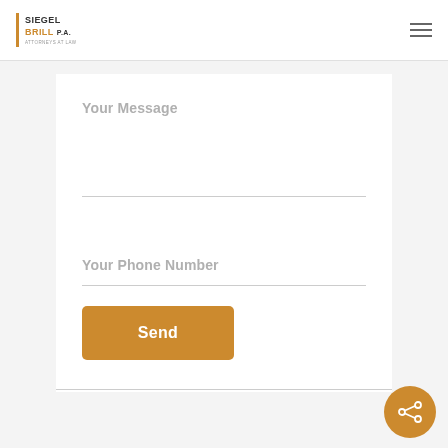[Figure (logo): Siegel Brill PA law firm logo with orange vertical bar accent and hamburger menu icon]
Your Message
Your Phone Number
Send